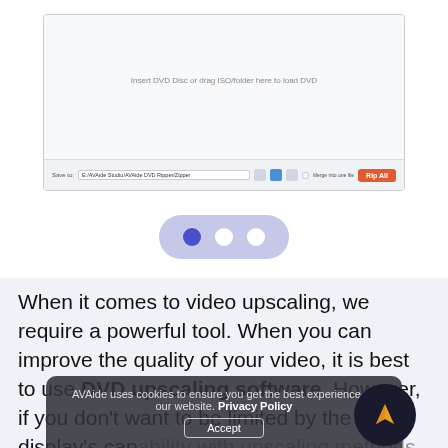[Figure (screenshot): DVD ripper application window showing empty disc area with text 'Insert DVD Disc or drag ISO/folder here to load DVD', and a bottom bar with save path 'E:/AVAide Studio/AVAide DVD Ripper/Zipper', merge checkbox, and orange 'Rip All' button]
[Figure (other): Pagination dots navigation: three dots on a purple/lavender rounded pill background; first dot is dark blue (active), second and third are white]
When it comes to video upscaling, we require a powerful tool. When you can improve the quality of your video, it is best to use DVD upscaling software. However, if you don't want to be limited by the display's capability with upscaling methods, watching movies should be a nightmare. This guide will teach you how to improve the quality of your video by utilizing the
[Figure (other): Cookie consent banner: 'AVAide uses cookies to ensure you get the best experience on our website. Privacy Policy' with Accept button, overlaid on the text content]